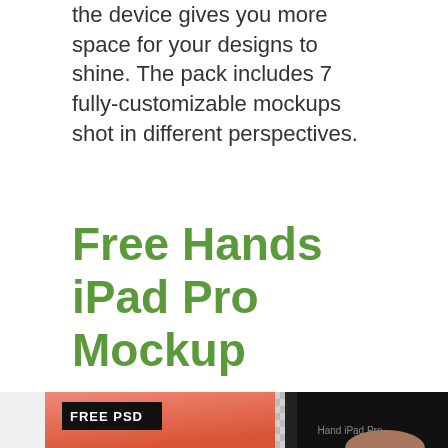the device gives you more space for your designs to shine. The pack includes 7 fully-customizable mockups shot in different perspectives.
Free Hands iPad Pro Mockup
[Figure (illustration): iPad Pro mockup image showing a tablet device being held by a hand against a split background — left side is a coral/salmon gradient color, right side is a grey checkered (transparent) pattern. A black badge reads FREE PSD in the upper left. The tablet screen is dark/black. Text at bottom reads 'Hand iPad Pro'.]